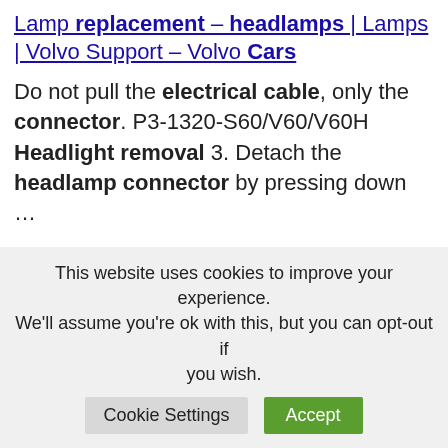Lamp replacement – headlamps | Lamps | Volvo Support – Volvo Cars
Do not pull the electrical cable, only the connector. P3-1320-S60/V60/V60H Headlight removal 3. Detach the headlamp connector by pressing down …
How to Change a Headlight Bulb in 5 Steps
16 Jul 2020 … Are your car
This website uses cookies to improve your experience. We'll assume you're ok with this, but you can opt-out if you wish.